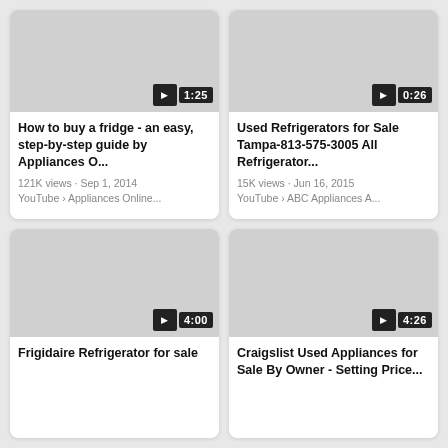[Figure (screenshot): Video thumbnail placeholder (gray) with play button and duration badge 1:25, for 'How to buy a fridge - an easy, step-by-step guide by Appliances O...']
How to buy a fridge - an easy, step-by-step guide by Appliances O...
121K views · Sep 1, 2014
YouTube › Appliances Online...
[Figure (screenshot): Video thumbnail placeholder (gray) with play button and duration badge 0:26, for 'Used Refrigerators for Sale Tampa-813-575-3005 All Refrigerator...']
Used Refrigerators for Sale Tampa-813-575-3005 All Refrigerator...
15K views · Jun 16, 2015
YouTube › ABC Appliances A...
[Figure (screenshot): Video thumbnail placeholder (gray) with play button and duration badge 4:00, for 'Frigidaire Refrigerator for sale']
Frigidaire Refrigerator for sale
[Figure (screenshot): Video thumbnail placeholder (gray) with play button and duration badge 4:26, for 'Craigslist Used Appliances for Sale By Owner - Setting Price...']
Craigslist Used Appliances for Sale By Owner - Setting Price...